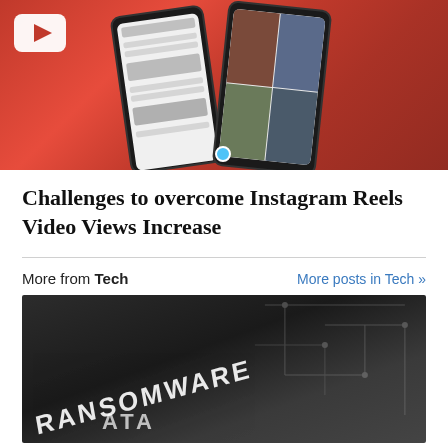[Figure (photo): Red background image showing YouTube logo in top-left and two smartphones displaying Instagram/social media app interfaces]
Challenges to overcome Instagram Reels Video Views Increase
More from Tech
More posts in Tech »
[Figure (photo): Dark grayscale image showing the word RANSOMWARE in bold 3D letters with circuit board elements in background and partial text DATA visible]